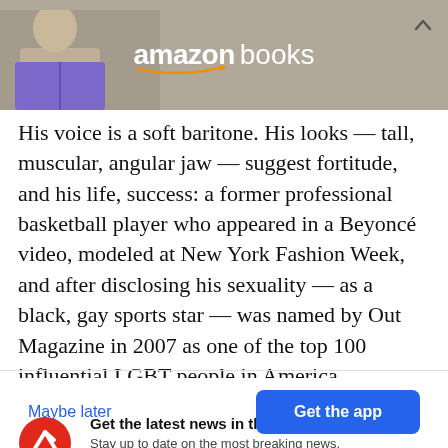[Figure (photo): Amazon Books advertisement banner showing a person reading a book with the Amazon Books logo in white text]
His voice is a soft baritone. His looks — tall, muscular, angular jaw — suggest fortitude, and his life, success: a former professional basketball player who appeared in a Beyoncé video, modeled at New York Fashion Week, and after disclosing his sexuality — as a black, gay sports star — was named by Out Magazine in 2007 as one of the top 100 influential LGBT people in America.
Get the latest news in the app! Stay up to date on the most breaking news, all from your BuzzFeed app.
Maybe later
Get the app